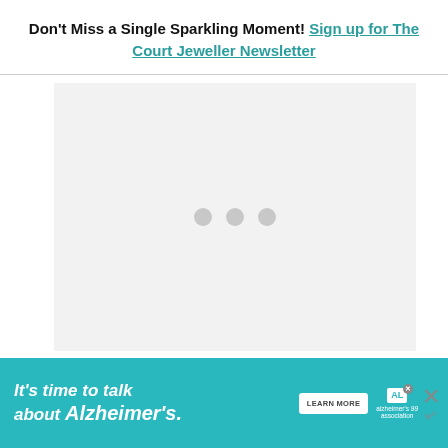Don't Miss a Single Sparkling Moment! Sign up for The Court Jeweller Newsletter
[Figure (other): Loading placeholder image area with three gray dots indicating content loading]
[Figure (other): Advertisement banner: It's time to talk about Alzheimer's. LEARN MORE button. Alzheimer's Association logo with close button.]